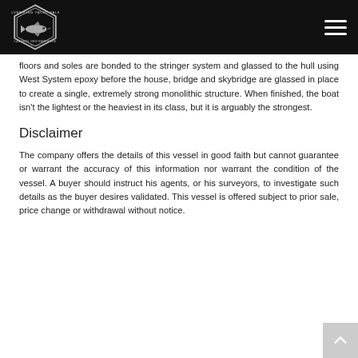Silver King Yacht Sales
floors and soles are bonded to the stringer system and glassed to the hull using West System epoxy before the house, bridge and skybridge are glassed in place to create a single, extremely strong monolithic structure. When finished, the boat isn't the lightest or the heaviest in its class, but it is arguably the strongest.
Disclaimer
The company offers the details of this vessel in good faith but cannot guarantee or warrant the accuracy of this information nor warrant the condition of the vessel. A buyer should instruct his agents, or his surveyors, to investigate such details as the buyer desires validated. This vessel is offered subject to prior sale, price change or withdrawal without notice.